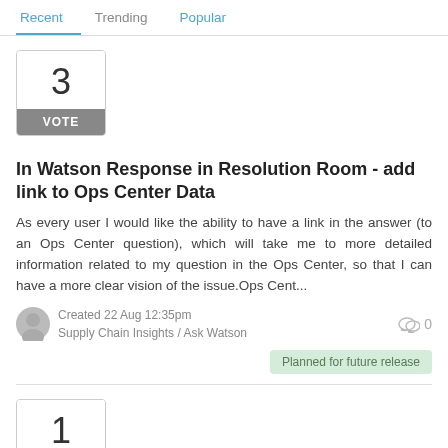Recent | Trending | Popular
3 VOTE
In Watson Response in Resolution Room - add link to Ops Center Data
As every user I would like the ability to have a link in the answer (to an Ops Center question), which will take me to more detailed information related to my question in the Ops Center, so that I can have a more clear vision of the issue.Ops Cent...
Created 22 Aug 12:35pm
Supply Chain Insights / Ask Watson
0
Planned for future release
1 VOTE
Machine Learning Module for Watson Cognitive Advis...